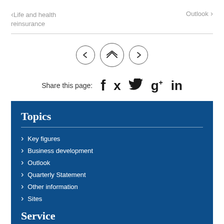< Life and health reinsurance    Outlook >
Share this page: f x twitter g+ in
Topics
> Key figures
> Business development
> Outlook
> Quarterly Statement
> Other information
> Sites
Service